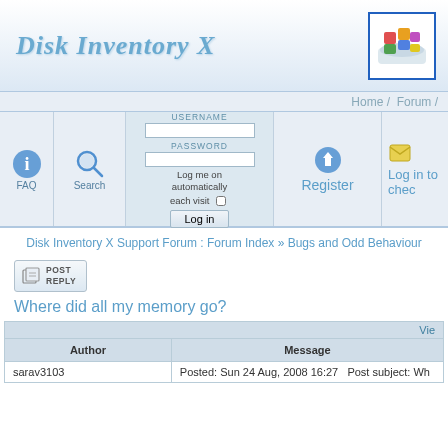Disk Inventory X
[Figure (logo): Disk Inventory X application icon: colorful 3D blocks on a white base, in a blue-bordered box]
Home / Forum /
[Figure (screenshot): Login area with FAQ icon, Search icon, username/password form with Log in button, Register button, and Log in to check messages area]
Disk Inventory X Support Forum : Forum Index » Bugs and Odd Behaviour
[Figure (screenshot): POST REPLY button]
Where did all my memory go?
| Author | Message |
| --- | --- |
| sarav3103 | Posted: Sun 24 Aug, 2008 16:27   Post subject: Wh... |